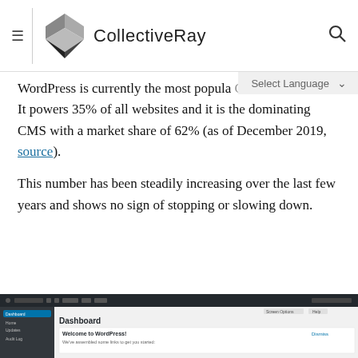CollectiveRay
WordPress is currently the most popular CMS in the world. It powers 35% of all websites and it is the dominating CMS with a market share of 62% (as of December 2019, source).
This number has been steadily increasing over the last few years and shows no sign of stopping or slowing down.
[Figure (screenshot): WordPress admin dashboard screenshot showing the main Dashboard panel with sidebar navigation and Welcome to WordPress message]